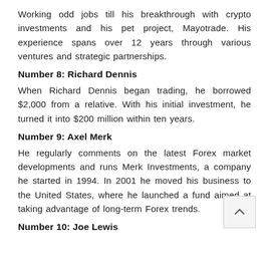Working odd jobs till his breakthrough with crypto investments and his pet project, Mayotrade. His experience spans over 12 years through various ventures and strategic partnerships.
Number 8: Richard Dennis
When Richard Dennis began trading, he borrowed $2,000 from a relative. With his initial investment, he turned it into $200 million within ten years.
Number 9: Axel Merk
He regularly comments on the latest Forex market developments and runs Merk Investments, a company he started in 1994. In 2001 he moved his business to the United States, where he launched a fund aimed at taking advantage of long-term Forex trends.
Number 10: Joe Lewis